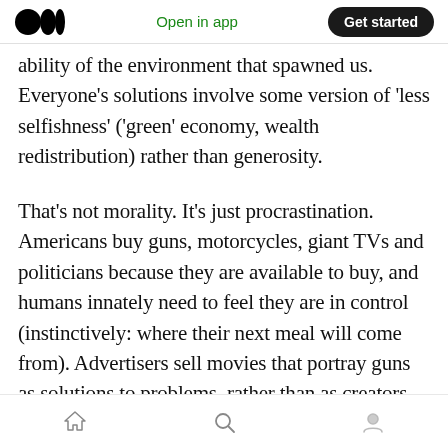Medium logo | Open in app | Get started
ability of the environment that spawned us. Everyone's solutions involve some version of 'less selfishness' ('green' economy, wealth redistribution) rather than generosity.
That's not morality. It's just procrastination. Americans buy guns, motorcycles, giant TVs and politicians because they are available to buy, and humans innately need to feel they are in control (instinctively: where their next meal will come from). Advertisers sell movies that portray guns as solutions to problems, rather than as creators
Home | Search | Profile